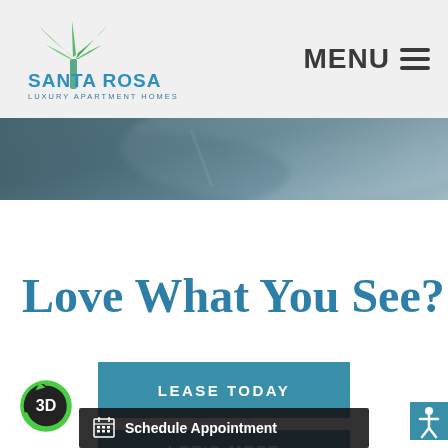[Figure (logo): Santa Rosa Luxury Apartment Homes logo with palm tree icon in teal/green colors]
MENU ☰
[Figure (photo): Hero image showing a blurred teal/grey bedroom or interior photo]
Love What You See?
LEASE TODAY
Schedule Appointment
LET'S MEET
[Figure (illustration): 3D badge circular icon with green arrow border]
[Figure (illustration): Accessibility icon (stick figure with arms raised) in teal square]